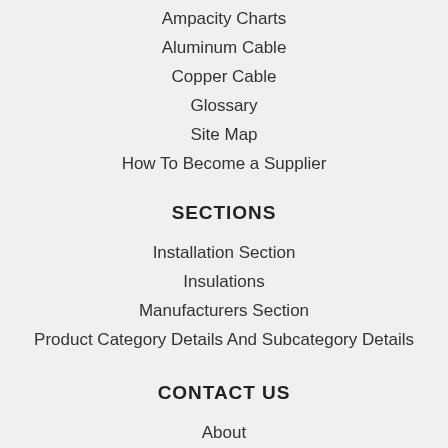Ampacity Charts
Aluminum Cable
Copper Cable
Glossary
Site Map
How To Become a Supplier
SECTIONS
Installation Section
Insulations
Manufacturers Section
Product Category Details And Subcategory Details
CONTACT US
About